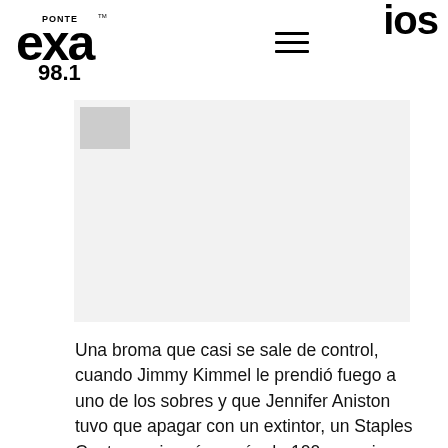ios
[Figure (logo): Ponte EXA 98.1 radio station logo in black and white]
[Figure (photo): Partially visible image placeholder with grey thumbnail in upper left corner]
Una broma que casi se sale de control, cuando Jimmy Kimmel le prendió fuego a uno de los sobres y que Jennifer Aniston tuvo que apagar con un extintor, un Staples Center casi vacío y más de 100 conexiones directas,